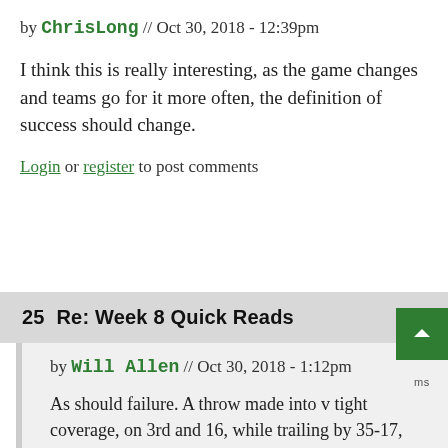by ChrisLong // Oct 30, 2018 - 12:39pm
I think this is really interesting, as the game changes and teams go for it more often, the definition of success should change.
Login or register to post comments
25  Re: Week 8 Quick Reads
by Will Allen // Oct 30, 2018 - 1:12pm
As should failure. A throw made into v tight coverage, on 3rd and 16, while trailing by 35-17, with12 minutes left in the game, resulting in a int, is not nearly the failure that doing so while trailing 10-